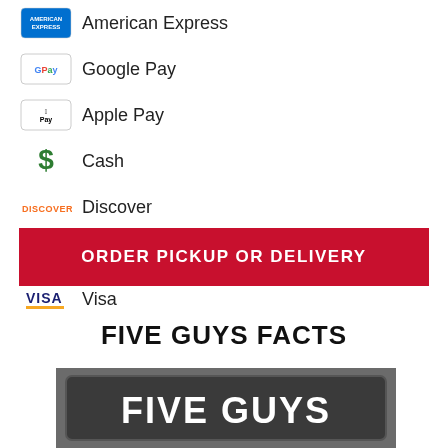American Express
Google Pay
Apple Pay
Cash
Discover
MasterCard
Visa
ORDER PICKUP OR DELIVERY
FIVE GUYS FACTS
[Figure (photo): Black and white photo of a Five Guys restaurant sign with large white letters on dark background reading FIVE GUYS]